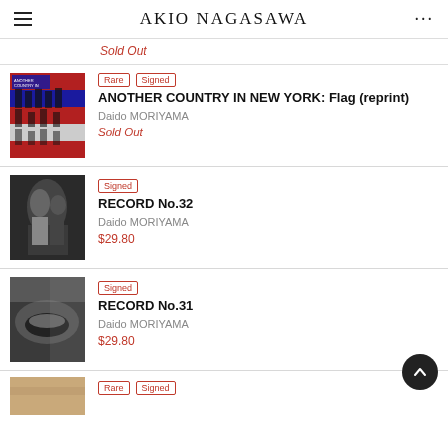AKIO NAGASAWA
Sold Out
[Figure (photo): Book cover of ANOTHER COUNTRY IN NEW YORK with flag imagery]
Rare  Signed
ANOTHER COUNTRY IN NEW YORK: Flag (reprint)
Daido MORIYAMA
Sold Out
[Figure (photo): Black and white photo of wedding scene on book cover RECORD No.32]
Signed
RECORD No.32
Daido MORIYAMA
$29.80
[Figure (photo): Close-up black and white photo on book cover RECORD No.31]
Signed
RECORD No.31
Daido MORIYAMA
$29.80
[Figure (photo): Partial book cover thumbnail at bottom of page]